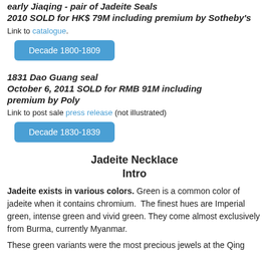early Jiaqing - pair of Jadeite Seals 2010 SOLD for HK$ 79M including premium by Sotheby's
Link to catalogue.
Decade 1800-1809
1831 Dao Guang seal October 6, 2011 SOLD for RMB 91M including premium by Poly
Link to post sale press release (not illustrated)
Decade 1830-1839
Jadeite Necklace Intro
Jadeite exists in various colors. Green is a common color of jadeite when it contains chromium.  The finest hues are Imperial green, intense green and vivid green. They come almost exclusively from Burma, currently Myanmar.
These green variants were the most precious jewels at the Qing